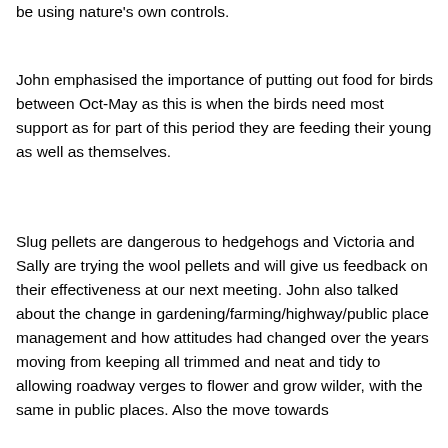be using nature's own controls.
John emphasised the importance of putting out food for birds between Oct-May as this is when the birds need most support as for part of this period they are feeding their young as well as themselves.
Slug pellets are dangerous to hedgehogs and Victoria and Sally are trying the wool pellets and will give us feedback on their effectiveness at our next meeting. John also talked about the change in gardening/farming/highway/public place management and how attitudes had changed over the years moving from keeping all trimmed and neat and tidy to allowing roadway verges to flower and grow wilder, with the same in public places. Also the move towards